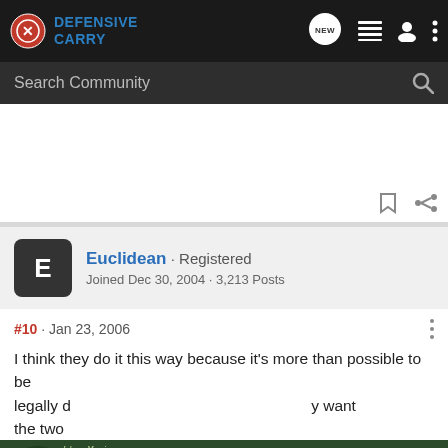[Figure (screenshot): Defensive Carry forum website navigation bar with logo, search bar, user icons]
Euclidean · Registered
Joined Dec 30, 2004 · 3,213 Posts
#10 · Jan 23, 2006
I think they do it this way because it's more than possible to be legally d... y want the two
[Figure (screenshot): Bass Pro Shops banner ad: RELOADING SUPPLIES - SHOP NOW]